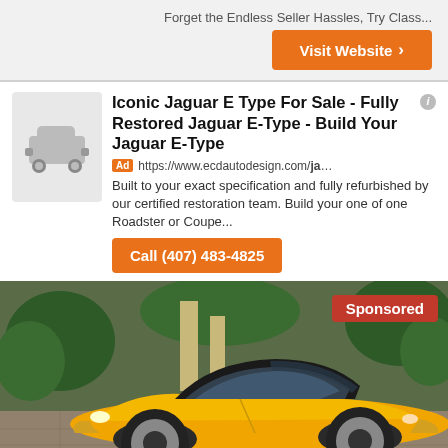Forget the Endless Seller Hassles, Try Class...
Visit Website ›
Iconic Jaguar E Type For Sale - Fully Restored Jaguar E-Type - Build Your Jaguar E-Type
Ad https://www.ecdautodesign.com/jaguar/...
Built to your exact specification and fully refurbished by our certified restoration team. Build your one of one Roadster or Coupe...
Call (407) 483-4825
[Figure (photo): Yellow classic Jaguar E-Type car photographed on a brick driveway with trees and garden in the background. A red 'Sponsored' badge appears in the top right corner. A 'See photo ›' label appears at the bottom right.]